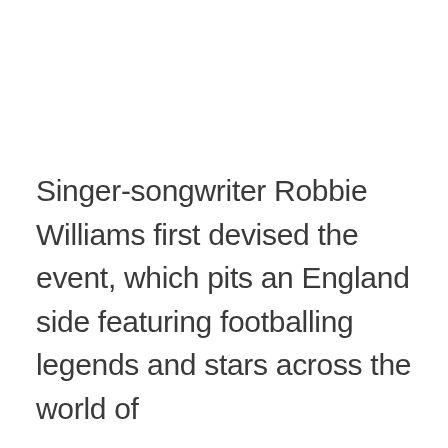Singer-songwriter Robbie Williams first devised the event, which pits an England side featuring footballing legends and stars across the world of